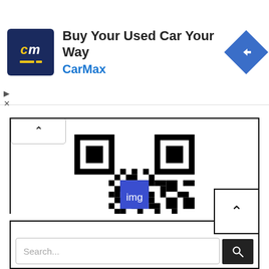[Figure (screenshot): CarMax advertisement banner with logo, headline 'Buy Your Used Car Your Way', brand name 'CarMax', and navigation icon]
[Figure (other): QR code with blue Imgur Softwares logo in center]
[Figure (screenshot): Bottom search bar area with search input field, scroll-to-top button, and search icon]